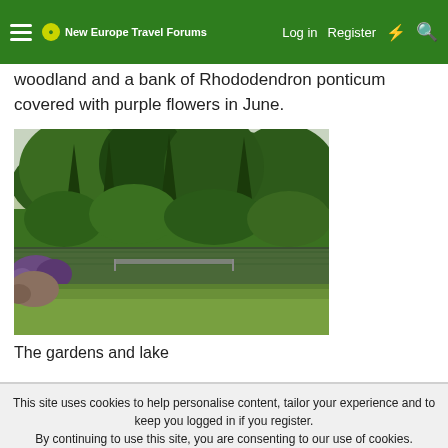New Europe Travel Forums — Log in  Register
woodland and a bank of Rhododendron ponticum covered with purple flowers in June.
[Figure (photo): A lush green garden with tall trees reflected in a calm lake, with a footbridge visible in the middle distance and some purple flowering rhododendrons on the left.]
The gardens and lake
This site uses cookies to help personalise content, tailor your experience and to keep you logged in if you register.
By continuing to use this site, you are consenting to our use of cookies.